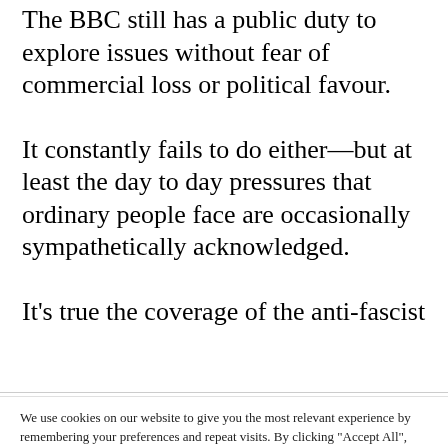The BBC still has a public duty to explore issues without fear of commercial loss or political favour.
It constantly fails to do either—but at least the day to day pressures that ordinary people face are occasionally sympathetically acknowledged.
It's true the coverage of the anti-fascist
We use cookies on our website to give you the most relevant experience by remembering your preferences and repeat visits. By clicking "Accept All", you consent to the use of ALL the cookies. However, you may visit "Cookie Settings" to provide a controlled consent.